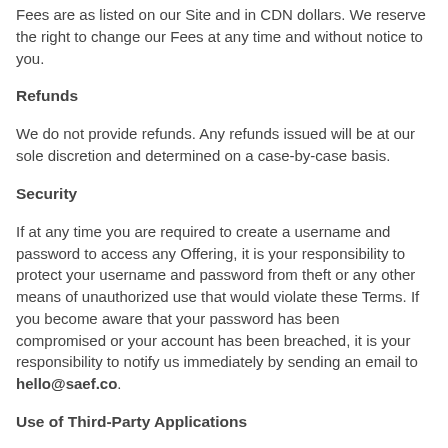Fees are as listed on our Site and in CDN dollars. We reserve the right to change our Fees at any time and without notice to you.
Refunds
We do not provide refunds. Any refunds issued will be at our sole discretion and determined on a case-by-case basis.
Security
If at any time you are required to create a username and password to access any Offering, it is your responsibility to protect your username and password from theft or any other means of unauthorized use that would violate these Terms. If you become aware that your password has been compromised or your account has been breached, it is your responsibility to notify us immediately by sending an email to hello@saef.co.
Use of Third-Party Applications